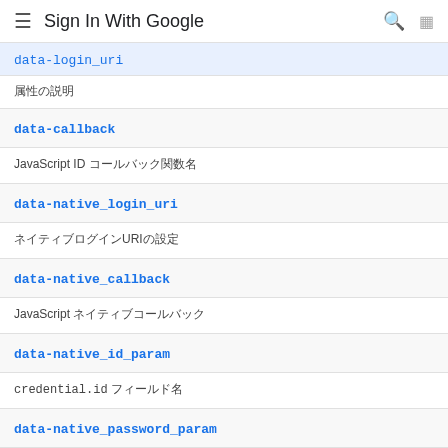Sign In With Google
data-login_uri (truncated top)
属性の説明
data-callback
JavaScript ID コールバック関数名
data-native_login_uri
ネイティブログインURIの設定
data-native_callback
JavaScript ネイティブコールバック
data-native_id_param
credential.id フィールド名
data-native_password_param
credential.password フィールド名